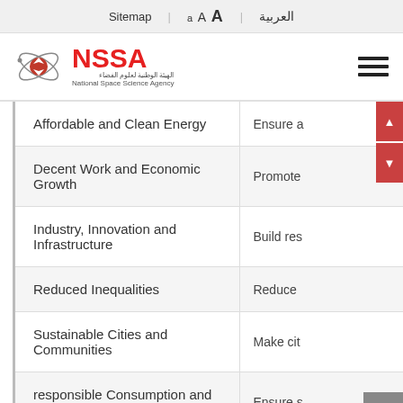Sitemap | a A A | العربية
[Figure (logo): NSSA National Space Science Agency logo with orbit graphic and Bahrain flag motif, red NSSA text]
| Goal | Description |
| --- | --- |
| Affordable and Clean Energy | Ensure a |
| Decent Work and Economic Growth | Promote |
| Industry, Innovation and Infrastructure | Build res |
| Reduced Inequalities | Reduce |
| Sustainable Cities and Communities | Make cit |
| responsible Consumption and Production | Ensure s |